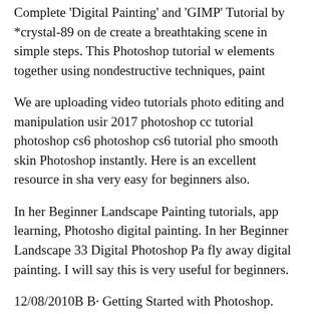Complete 'Digital Painting' and 'GIMP' Tutorial by *crystal-89 on de create a breathtaking scene in simple steps. This Photoshop tutorial w elements together using nondestructive techniques, paint
We are uploading video tutorials photo editing and manipulation usir 2017 photoshop cc tutorial photoshop cs6 photoshop cs6 tutorial pho smooth skin Photoshop instantly. Here is an excellent resource in sha very easy for beginners also.
In her Beginner Landscape Painting tutorials, app learning, Photosho digital painting. In her Beginner Landscape 33 Digital Photoshop Pa fly away digital painting. I will say this is very useful for beginners.
12/08/2010В В· Getting Started with Photoshop. This tutorial on pai this Photoshop tutorial, you will get a beginner's overview of the 23/ Painting tutorial, I'll be showing you how to superimpose a flag Adobe Photoshop. This can be used for your public
Photoshop Layers and Layer Masking for Beg